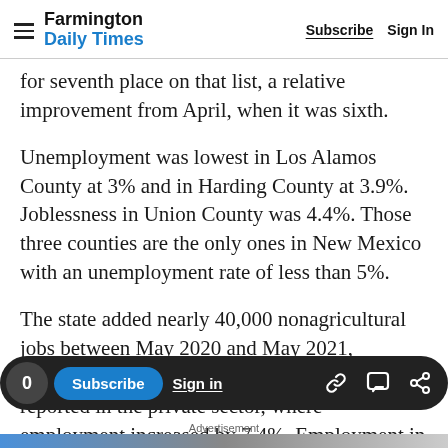Farmington Daily Times | Subscribe  Sign In
for seventh place on that list, a relative improvement from April, when it was sixth.
Unemployment was lowest in Los Alamos County at 3% and in Harding County at 3.9%. Joblessness in Union County was 4.4%. Those three counties are the only ones in New Mexico with an unemployment rate of less than 5%.
The state added nearly 40,000 nonagricultural jobs between May 2020 and May 2021, according to the report. All those gains were reported in the private sector, where employment increased by 7.4%. Employment in the public sector fell by 1.7%
0  Subscribe  Sign in  Advertisement